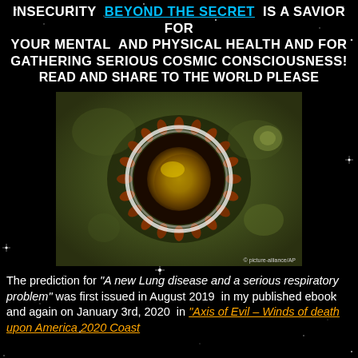INSECURITY BEYOND THE SECRET IS A SAVIOR FOR YOUR MENTAL AND PHYSICAL HEALTH AND FOR GATHERING SERIOUS COSMIC CONSCIOUSNESS!
READ AND SHARE TO THE WORLD PLEASE
[Figure (photo): Electron microscope image of a coronavirus particle, showing circular virion with orange/red spike proteins around a yellow-green center, on a dark olive-green background. Watermark: picture-alliance/AP]
The prediction for "A new Lung disease and a serious respiratory problem" was first issued in August 2019 in my published ebook and again on January 3rd, 2020 in "Axis of Evil – Winds of death upon America 2020 Coast